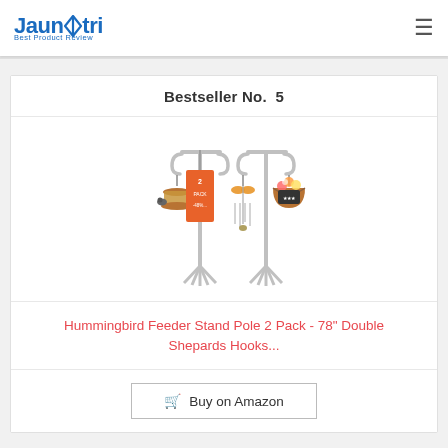Jaunatri Best Product Review
Bestseller No.  5
[Figure (photo): Two shepherd hook pole stands with various hanging items: a bird feeder, an orange sale tag, wind chimes with butterfly, and a flower basket. Each pole has a forked base.]
Hummingbird Feeder Stand Pole 2 Pack - 78" Double Shepards Hooks...
Buy on Amazon